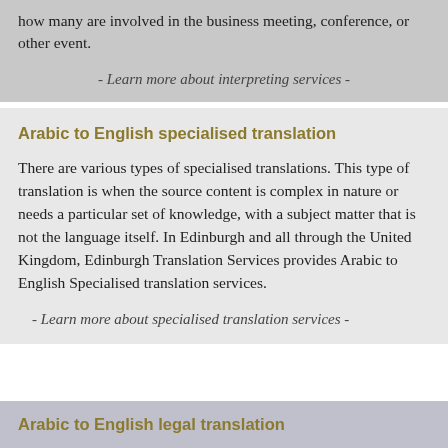how many are involved in the business meeting, conference, or other event.
- Learn more about interpreting services -
Arabic to English specialised translation
There are various types of specialised translations. This type of translation is when the source content is complex in nature or needs a particular set of knowledge, with a subject matter that is not the language itself. In Edinburgh and all through the United Kingdom, Edinburgh Translation Services provides Arabic to English Specialised translation services.
- Learn more about specialised translation services -
Arabic to English legal translation